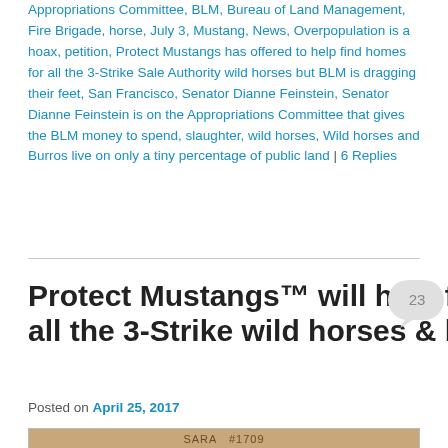Appropriations Committee, BLM, Bureau of Land Management, Fire Brigade, horse, July 3, Mustang, News, Overpopulation is a hoax, petition, Protect Mustangs has offered to help find homes for all the 3-Strike Sale Authority wild horses but BLM is dragging their feet, San Francisco, Senator Dianne Feinstein, Senator Dianne Feinstein is on the Appropriations Committee that gives the BLM money to spend, slaughter, wild horses, Wild horses and Burros live on only a tiny percentage of public land | 6 Replies
Protect Mustangs™ will help find homes for all the 3-Strike wild horses & burros
Posted on April 25, 2017
[Figure (photo): Photo of a horse tag or identification sign reading SARA #1709]